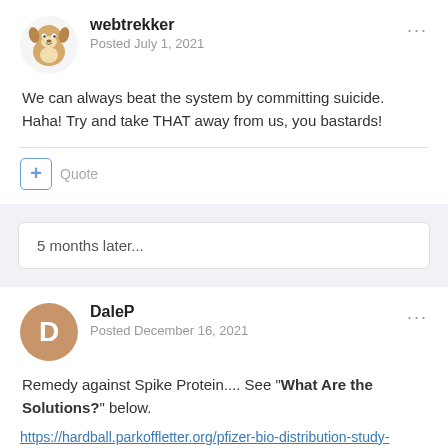[Figure (illustration): Dog cartoon avatar for user webtrekker]
webtrekker
Posted July 1, 2021
We can always beat the system by committing suicide. Haha! Try and take THAT away from us, you bastards!
5 months later...
[Figure (illustration): Circle avatar with letter D for user DaleP]
DaleP
Posted December 16, 2021
Remedy against Spike Protein.... See "What Are the Solutions?" below.
https://hardball.parkoffletter.org/pfizer-bio-distribution-study-submitted-to-the-japanese-government/